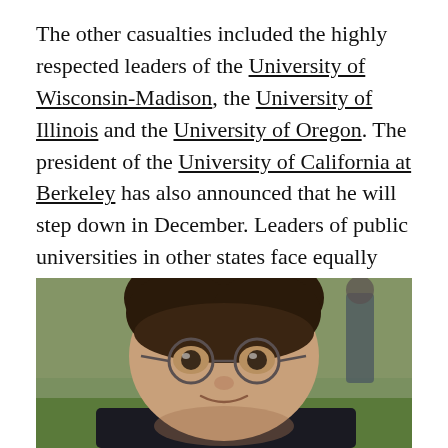The other casualties included the highly respected leaders of the University of Wisconsin-Madison, the University of Illinois and the University of Oregon. The president of the University of California at Berkeley has also announced that he will step down in December. Leaders of public universities in other states face equally strong pressures to go. The men and women in these jobs seem to have a target on their backs.

This can't go on.
[Figure (photo): Close-up photo of a young man with short dark hair, wearing round wire-framed glasses, smiling slightly. The background appears to be an outdoor setting with greenery. There is a blurred figure in the background to the right.]